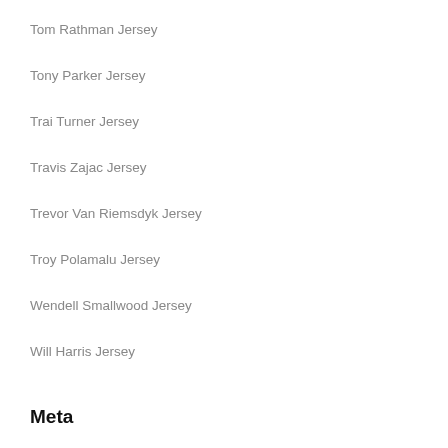Tom Rathman Jersey
Tony Parker Jersey
Trai Turner Jersey
Travis Zajac Jersey
Trevor Van Riemsdyk Jersey
Troy Polamalu Jersey
Wendell Smallwood Jersey
Will Harris Jersey
Meta